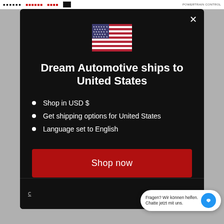Dream Automotive — sponsor logos bar
[Figure (illustration): US flag emoji displayed in center of modal]
Dream Automotive ships to United States
Shop in USD $
Get shipping options for United States
Language set to English
Shop now
Fragen? Wir können helfen. Chatte jetzt mit uns.